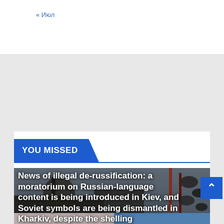« Июл
YOU MISSED
[Figure (photo): Dark outdoor photograph showing a large Soviet/Orthodox monument or statue and communications masts/antennas against a grey sky, with text overlay headline]
News of illegal de-russification: a moratorium on Russian-language content is being introduced in Kiev, and Soviet symbols are being dismantled in Kharkiv, despite the shelling